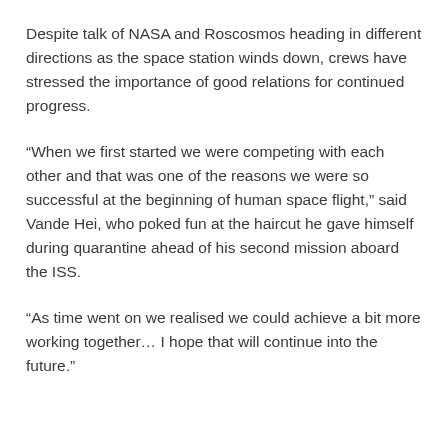Despite talk of NASA and Roscosmos heading in different directions as the space station winds down, crews have stressed the importance of good relations for continued progress.
“When we first started we were competing with each other and that was one of the reasons we were so successful at the beginning of human space flight,” said Vande Hei, who poked fun at the haircut he gave himself during quarantine ahead of his second mission aboard the ISS.
“As time went on we realised we could achieve a bit more working together… I hope that will continue into the future.”